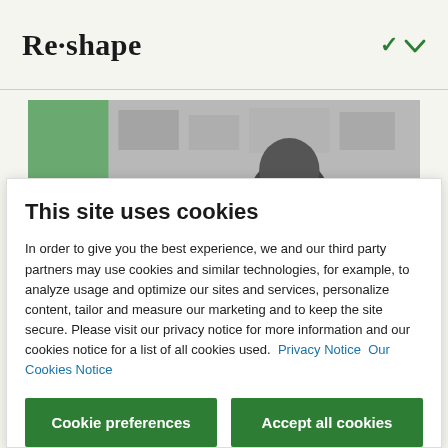Re·shape
[Figure (photo): Black and white photo of a person with dark braided hair viewed from behind, in an office or studio environment with shelves and boards on the wall. Left portion has a green tinted accent.]
This site uses cookies
In order to give you the best experience, we and our third party partners may use cookies and similar technologies, for example, to analyze usage and optimize our sites and services, personalize content, tailor and measure our marketing and to keep the site secure. Please visit our privacy notice for more information and our cookies notice for a list of all cookies used.  Privacy Notice  Our Cookies Notice
Cookie preferences
Accept all cookies